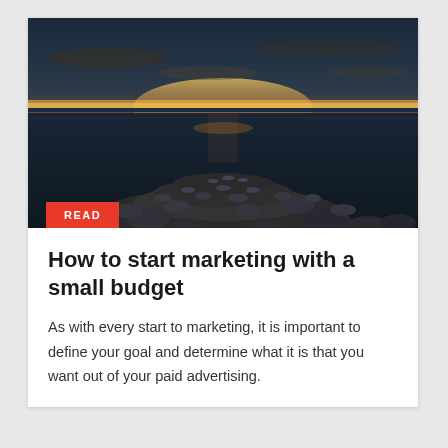[Figure (photo): Coastal seascape at sunset with rocks/stones in foreground, calm water, and orange-golden sky on the horizon]
How to start marketing with a small budget
As with every start to marketing, it is important to define your goal and determine what it is that you want out of your paid advertising.